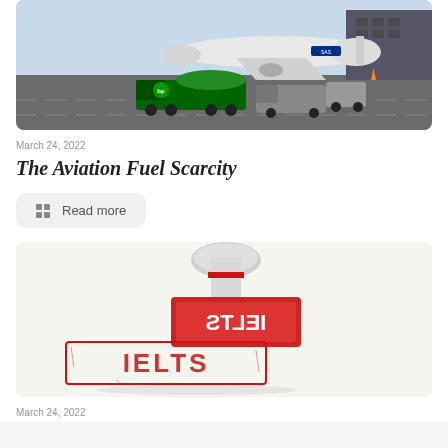[Figure (photo): Airport refueling scene with a BP tanker truck and service vehicles next to a commercial SAS airplane on the tarmac]
March 24, 2022
The Aviation Fuel Scarcity
Read more
[Figure (photo): IELTS rubber stamp with red text, one stamp face-down showing mirror text and one showing the IELTS imprint on a white surface]
March 24, 2022